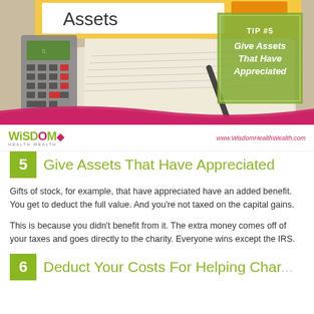[Figure (photo): Hero image showing a binder labeled Assets, a calculator, pen, and financial documents on a desk, with a green overlay box showing TIP #5 Give Assets That Have Appreciated]
[Figure (logo): Wisdom Health Wealth logo in olive green with pink accent]
www.WisdomHealthWealth.com
5  Give Assets That Have Appreciated
Gifts of stock, for example, that have appreciated have an added benefit. You get to deduct the full value. And you're not taxed on the capital gains.
This is because you didn't benefit from it. The extra money comes off of your taxes and goes directly to the charity. Everyone wins except the IRS.
6  Deduct Your Costs For Helping Charity...